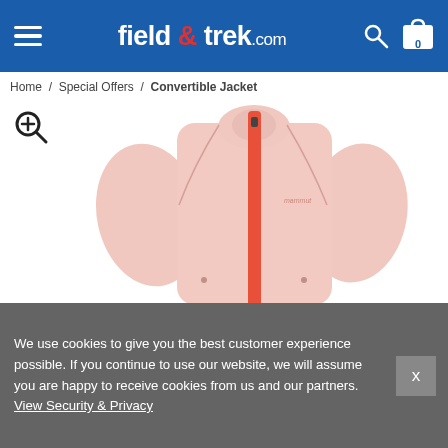field & trek.com
Home / Special Offers / Convertible Jacket
[Figure (photo): Pink/blush women's convertible jacket with coral/red zip, standing collar, raglan sleeves, and small chest logo, shown on a white background from the front.]
We use cookies to give you the best customer experience possible. If you continue to use our website, we will assume you are happy to receive cookies from us and our partners. View Security & Privacy